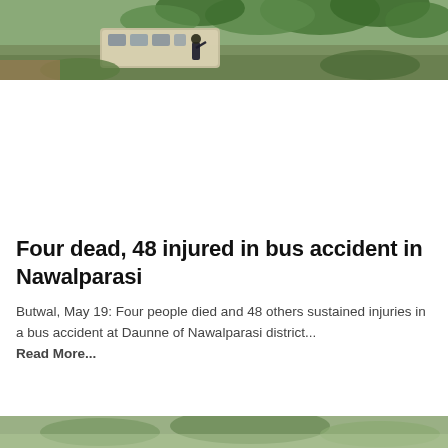[Figure (photo): Aerial view of an overturned bus near trees and vegetation, a person visible near the vehicle]
Four dead, 48 injured in bus accident in Nawalparasi
Butwal, May 19: Four people died and 48 others sustained injuries in a bus accident at Daunne of Nawalparasi district... Read More...
[Figure (photo): Partial view of another image at the bottom of the page]